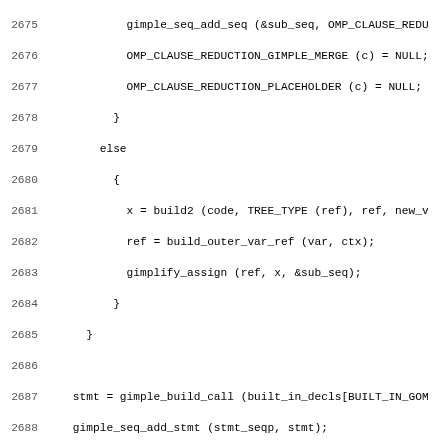[Figure (other): Source code listing in C, lines 2675-2706, showing OMP reduction clause handling and lower_copyprivate_clauses function definition]